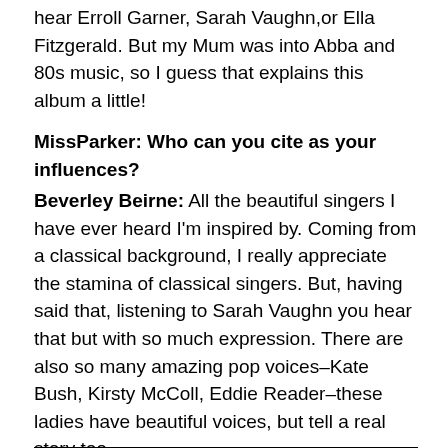hear Erroll Garner, Sarah Vaughn,or Ella Fitzgerald.  But my Mum was into Abba and 80s music, so I guess that explains this album a little!
MissParker: Who can you cite as your influences? Beverley Beirne: All the beautiful singers I have ever heard I'm inspired by.  Coming from a classical background, I really appreciate the stamina of classical singers.  But, having said that, listening to Sarah Vaughn you hear that but with so much expression.  There are also so many amazing pop voices–Kate Bush, Kirsty McColl, Eddie Reader–these ladies have beautiful voices, but tell a real story too.
MissParker: Are you professionally trained, or does this beautiful gift come naturally?